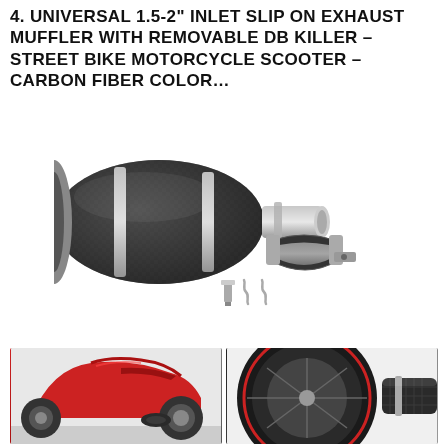4. UNIVERSAL 1.5-2" INLET SLIP ON EXHAUST MUFFLER WITH REMOVABLE DB KILLER – STREET BIKE MOTORCYCLE SCOOTER – CARBON FIBER COLOR…
[Figure (photo): Product photo of a carbon fiber finish exhaust muffler with mounting clamp, spring clips, and bolt hardware]
[Figure (photo): Two installation photos: left shows a red sport motorcycle with exhaust installed, right shows close-up of rear wheel with carbon fiber exhaust muffler]